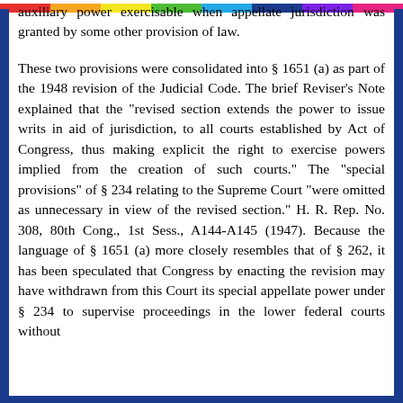auxiliary power exercisable when appellate jurisdiction was granted by some other provision of law.
These two provisions were consolidated into § 1651 (a) as part of the 1948 revision of the Judicial Code. The brief Reviser's Note explained that the "revised section extends the power to issue writs in aid of jurisdiction, to all courts established by Act of Congress, thus making explicit the right to exercise powers implied from the creation of such courts." The "special provisions" of § 234 relating to the Supreme Court "were omitted as unnecessary in view of the revised section." H. R. Rep. No. 308, 80th Cong., 1st Sess., A144-A145 (1947). Because the language of § 1651 (a) more closely resembles that of § 262, it has been speculated that Congress by enacting the revision may have withdrawn from this Court its special appellate power under § 234 to supervise proceedings in the lower federal courts without